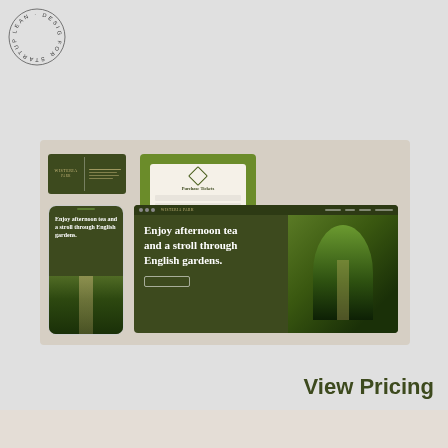[Figure (logo): Circular text logo reading LEAN DESIGN FOR STARTUPS]
[Figure (screenshot): Design mockup showcasing a garden/park brand identity including business card, ticket purchase modal, mobile phone screen, and desktop website layout. All in dark olive green color scheme. Text reads: Enjoy afternoon tea and a stroll through English gardens.]
View Pricing